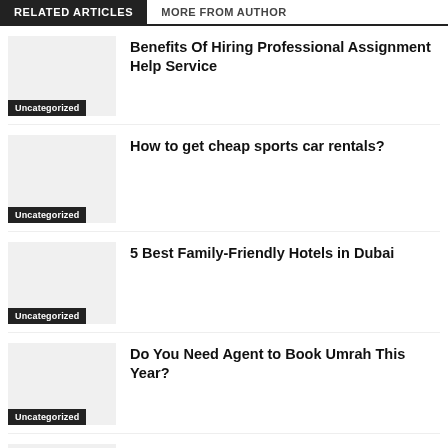RELATED ARTICLES | MORE FROM AUTHOR
Benefits Of Hiring Professional Assignment Help Service
Uncategorized
How to get cheap sports car rentals?
Uncategorized
5 Best Family-Friendly Hotels in Dubai
Uncategorized
Do You Need Agent to Book Umrah This Year?
Uncategorized
Insilico Medicine Announces New